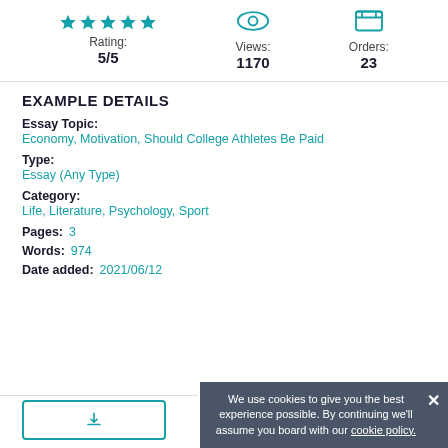[Figure (infographic): Stats row with star rating (5/5), views icon (1170), and orders icon (23)]
EXAMPLE DETAILS
Essay Topic:
Economy, Motivation, Should College Athletes Be Paid
Type:
Essay (Any Type)
Category:
Life, Literature, Psychology, Sport
Pages: 3
Words: 974
Date added: 2021/06/12
We use cookies to give you the best experience possible. By continuing we'll assume you board with our cookie policy.